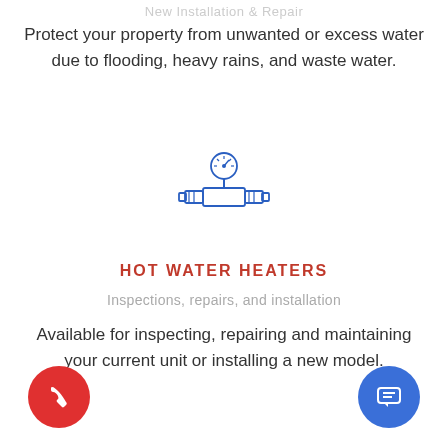New Installation & Repair
Protect your property from unwanted or excess water due to flooding, heavy rains, and waste water.
[Figure (illustration): Blue line icon of a water pipe/meter with a pressure gauge on top and flanged connections on both sides]
HOT WATER HEATERS
Inspections, repairs, and installation
Available for inspecting, repairing and maintaining your current unit or installing a new model.